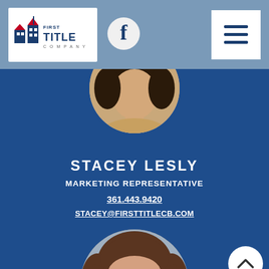[Figure (logo): First Title Company logo with blue building icon]
[Figure (logo): Facebook icon circle]
[Figure (logo): Hamburger menu icon (three horizontal lines)]
[Figure (photo): Circular portrait photo of Stacey Lesly, partially cropped at top]
STACEY LESLY
MARKETING REPRESENTATIVE
361.443.9420
STACEY@FIRSTTITLECB.COM
[Figure (photo): Circular portrait photo of Jeaneal Dennis, woman with brown hair smiling]
JEANEAL DENNIS